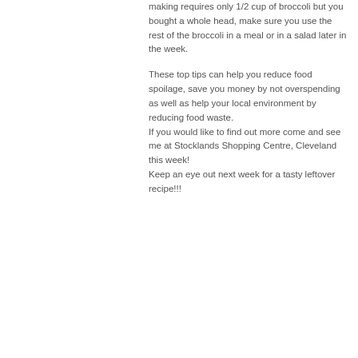making requires only 1/2 cup of broccoli but you bought a whole head, make sure you use the rest of the broccoli in a meal or in a salad later in the week.
These top tips can help you reduce food spoilage, save you money by not overspending as well as help your local environment by reducing food waste. If you would like to find out more come and see me at Stocklands Shopping Centre, Cleveland this week! Keep an eye out next week for a tasty leftover recipe!!!